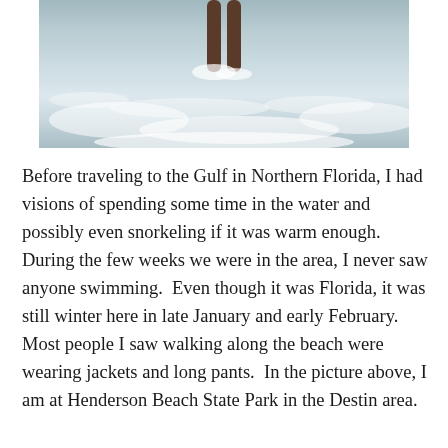[Figure (photo): A person's legs walking in shallow ocean surf at a beach, with white foam and grey-blue water visible.]
Before traveling to the Gulf in Northern Florida, I had visions of spending some time in the water and possibly even snorkeling if it was warm enough.  During the few weeks we were in the area, I never saw anyone swimming.  Even though it was Florida, it was still winter here in late January and early February.  Most people I saw walking along the beach were wearing jackets and long pants.  In the picture above, I am at Henderson Beach State Park in the Destin area.